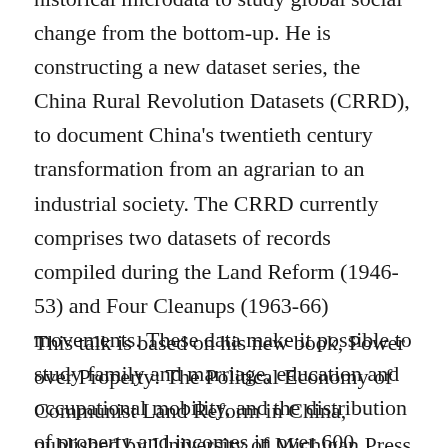historical microdata to study global social change from the bottom-up. He is constructing a new dataset series, the China Rural Revolution Datasets (CRRD), to document China's twentieth century transformation from an agrarian to an industrial society. The CRRD currently comprises two datasets of records compiled during the Land Reform (1946-53) and Four Cleanups (1963-66) movements. These data make it possible to study family and marriage, education and occupational mobility, and the distribution of property and incomes in over 600 complete village communities in 20 counties.
This talk is based on his new book, Power over Property: The Political Economy of Communist Land Reform in China, published by University of Michigan Press in 2020.